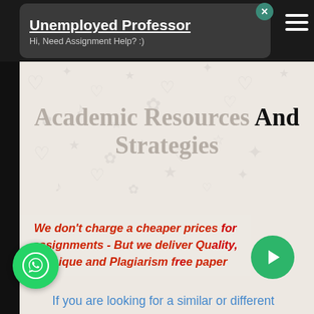Unemployed Professor
Hi, Need Assignment Help? :)
Academic Resources And Strategies
We don't charge a cheaper prices for assignments - But we deliver Quality, Unique and Plagiarism free paper
If you are looking for a similar or different assignment contact us for help by placing an order anonymously and it will be delivered in time.